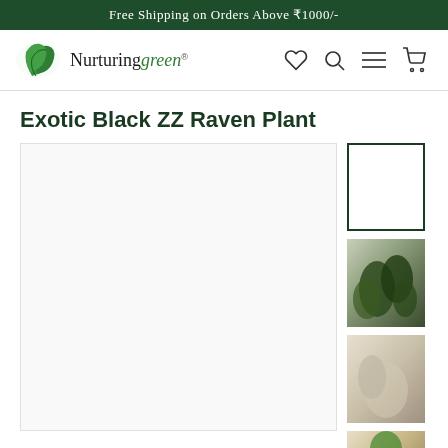Free Shipping on Orders Above ₹1000/-
[Figure (logo): Nurturing Green logo with green leaf graphic and brand name]
Exotic Black ZZ Raven Plant
[Figure (photo): Main product image area — large white/blank product photo placeholder for Exotic Black ZZ Raven Plant]
[Figure (photo): Thumbnail 1 — selected, empty white box with dark green border]
[Figure (photo): Thumbnail 2 — dark green plant leaves close-up]
[Figure (photo): Thumbnail 3 — lighter colored plant or background]
[Figure (photo): Thumbnail 4 — plant in packaging/pot with green label]